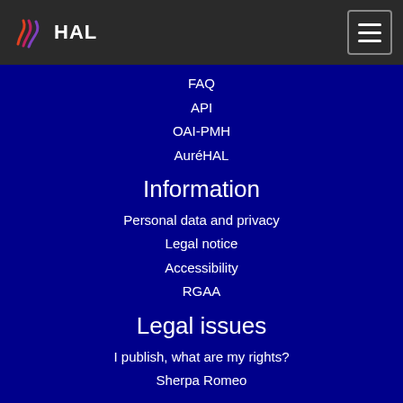HAL
FAQ
API
OAI-PMH
AuréHAL
Information
Personal data and privacy
Legal notice
Accessibility
RGAA
Legal issues
I publish, what are my rights?
Sherpa Romeo
Portails
Portals list
HAL SHS